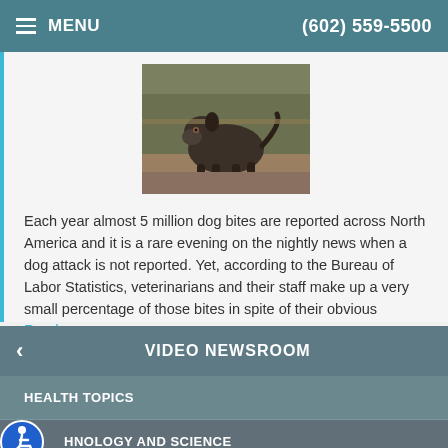MENU   (602) 559-5500
[Figure (photo): A dog standing outdoors, appears to be a large breed dog on sandy/dirt ground near a fence]
Each year almost 5 million dog bites are reported across North America and it is a rare evening on the nightly news when a dog attack is not reported. Yet, according to the Bureau of Labor Statistics, veterinarians and their staff make up a very small percentage of those bites in spite of their obvious
Read more
VIDEO NEWSROOM
HEALTH TOPICS
TECHNOLOGY AND SCIENCE